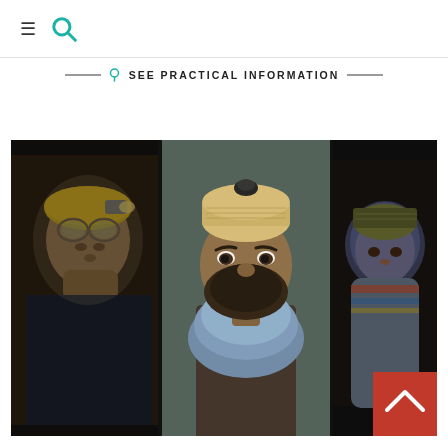≡ 🔍
SEE PRACTICAL INFORMATION
[Figure (photo): Museum exhibition photo showing three large portrait photographs displayed on illuminated panels. Center panel shows a bearded man wearing a traditional woven skullcap with a scarf. Left panel shows an older man wearing a mining helmet with a headlamp. Right panel shows a child wrapped in a colorful blanket or swaddling cloth. A red scroll-to-top button with a chevron arrow is visible in the bottom right corner.]